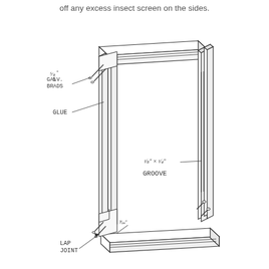off any excess insect screen on the sides.
[Figure (engineering-diagram): Exploded isometric diagram of a window screen frame showing lap joint construction. Labels include: 5/8" GALV. BRADS (with nails shown at upper left corner joint), GLUE (pointing to corner joint), 1/8" x 1/4" GROOVE (pointing to groove on right side rail), LAP JOINT (pointing to bottom corner joint). The frame has two vertical side rails and a horizontal top rail assembled at corners, with a separate bottom rail shown below.]